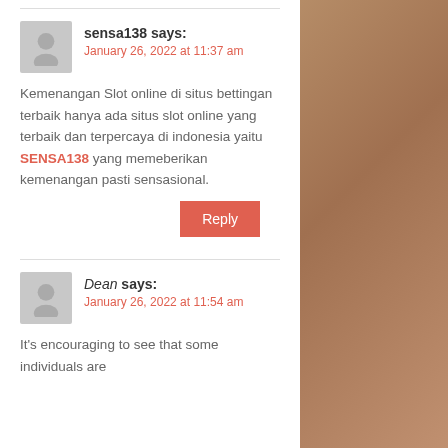sensa138 says:
January 26, 2022 at 11:37 am
Kemenangan Slot online di situs bettingan terbaik hanya ada situs slot online yang terbaik dan terpercaya di indonesia yaitu SENSA138 yang memeberikan kemenangan pasti sensasional.
Reply
Dean says:
January 26, 2022 at 11:54 am
It's encouraging to see that some individuals are